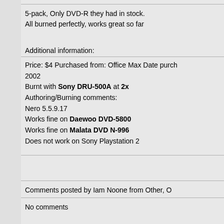5-pack, Only DVD-R they had in stock. All burned perfectly, works great so far
Additional information:
Price: $4 Purchased from: Office Max Date purch 2002
Burnt with Sony DRU-500A at 2x
Authoring/Burning comments:
Nero 5.5.9.17
Works fine on Daewoo DVD-5800
Works fine on Malata DVD N-996
Does not work on Sony Playstation 2
Comments posted by Iam Noone from Other, O
No comments